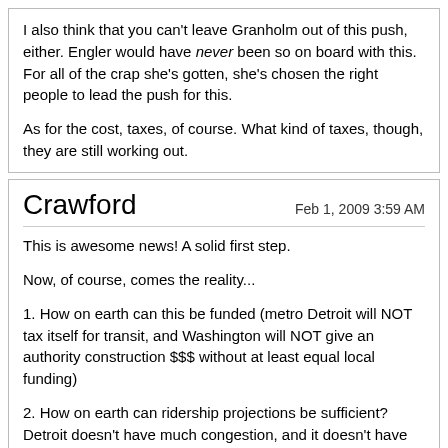I also think that you can't leave Granholm out of this push, either. Engler would have never been so on board with this. For all of the crap she's gotten, she's chosen the right people to lead the push for this.

As for the cost, taxes, of course. What kind of taxes, though, they are still working out.
Crawford
Feb 1, 2009 3:59 AM
This is awesome news! A solid first step.

Now, of course, comes the reality...

1. How on earth can this be funded (metro Detroit will NOT tax itself for transit, and Washington will NOT give an authority construction $$$ without at least equal local funding)

2. How on earth can ridership projections be sufficient? Detroit doesn't have much congestion, and it doesn't have very major activity centers or corridors.

You need either factor (preferably both) for transit to have a chance of working. Woodward doesn't have any congestion. What would incentivize someone to take transit, when there's no congestion and plenty of cheap parking downtown?

And then in addition, please don't...